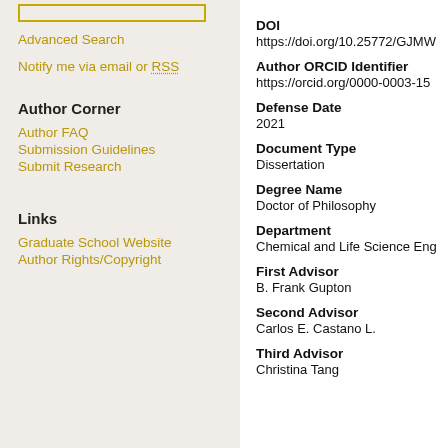Advanced Search
Notify me via email or RSS
Author Corner
Author FAQ
Submission Guidelines
Submit Research
Links
Graduate School Website
Author Rights/Copyright
DOI
https://doi.org/10.25772/GJMW
Author ORCID Identifier
https://orcid.org/0000-0003-15
Defense Date
2021
Document Type
Dissertation
Degree Name
Doctor of Philosophy
Department
Chemical and Life Science Eng
First Advisor
B. Frank Gupton
Second Advisor
Carlos E. Castano L.
Third Advisor
Christina Tang